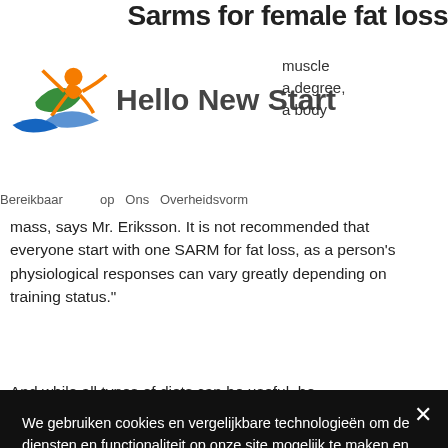Sarms for female fat loss
[Figure (logo): Hello New Start logo with colorful figure and green/blue swoosh elements]
muscle
a degree,
a body
Bereikbaar op Ons Overheidsvorm
mass, says Mr. Eriksson. It is not recommended that everyone start with one SARM for fat loss, as a person's physiological responses can vary greatly depending on training status."
And while all types of diets can be useful, he
We gebruiken cookies en vergelijkbare technologieën om de diensten en functionaliteit op onze site mogelijk te maken en om je interactie met onze dienst te begrijpen. Door op 'Accepteren' te klikken, ga je akkoord met ons gebruik van dergelijke technologieën voor marketing en analyse. Bekijk het privacybeleid
Cookie-instellingen
Accepteren